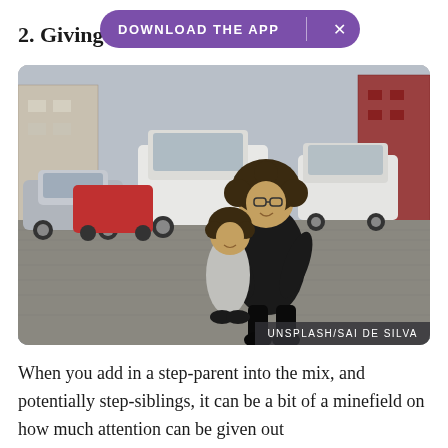2. Giving
[Figure (other): Purple pill-shaped banner reading 'DOWNLOAD THE APP' with an X button]
[Figure (photo): A woman with curly hair crouching and hugging a young child on a cobblestone street with cars in the background. Credit: UNSPLASH/SAI DE SILVA]
When you add in a step-parent into the mix, and potentially step-siblings, it can be a bit of a minefield on how much attention can be given out